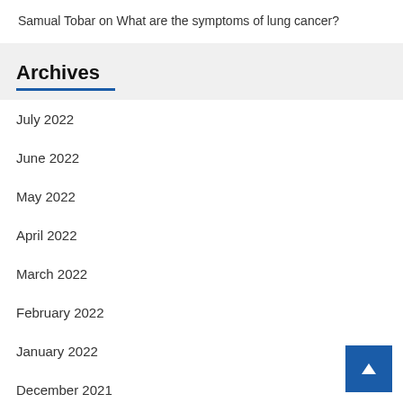Samual Tobar on What are the symptoms of lung cancer?
Archives
July 2022
June 2022
May 2022
April 2022
March 2022
February 2022
January 2022
December 2021
November 2021
October 2021